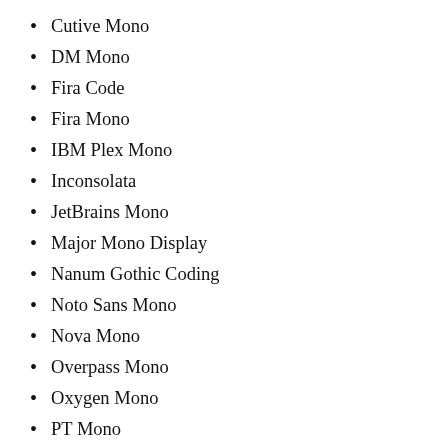Cutive Mono
DM Mono
Fira Code
Fira Mono
IBM Plex Mono
Inconsolata
JetBrains Mono
Major Mono Display
Nanum Gothic Coding
Noto Sans Mono
Nova Mono
Overpass Mono
Oxygen Mono
PT Mono
Roboto Mono
Share Tech Mono